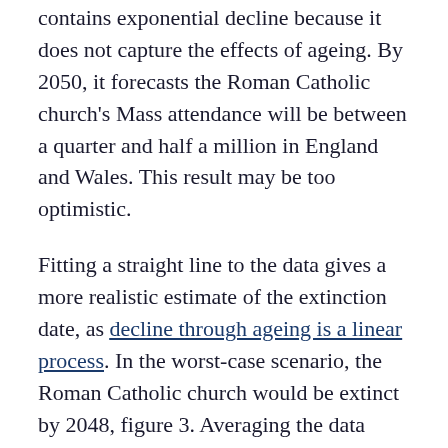contains exponential decline because it does not capture the effects of ageing. By 2050, it forecasts the Roman Catholic church's Mass attendance will be between a quarter and half a million in England and Wales. This result may be too optimistic.
Fitting a straight line to the data gives a more realistic estimate of the extinction date, as decline through ageing is a linear process. In the worst-case scenario, the Roman Catholic church would be extinct by 2048, figure 3. Averaging the data from 2000 gives a later extinction date of 2062. The church's future will likely lie somewhere between linear and exponential decline. By 2030 some slowing down of its decline may be seen, perhaps